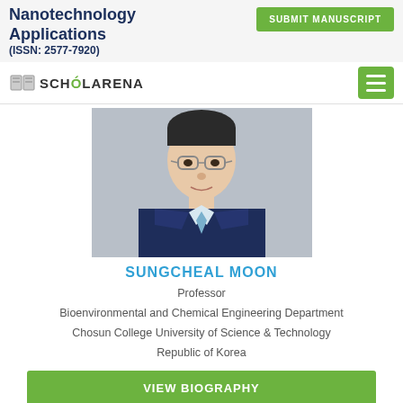Nanotechnology Applications (ISSN: 2577-7920)
[Figure (logo): ScholarArena logo with book icon]
[Figure (photo): Headshot photo of Sungcheal Moon, a man wearing glasses and a dark suit with light blue tie]
SUNGCHEAL MOON
Professor
Bioenvironmental and Chemical Engineering Department
Chosun College University of Science & Technology
Republic of Korea
[Figure (other): VIEW BIOGRAPHY green button]